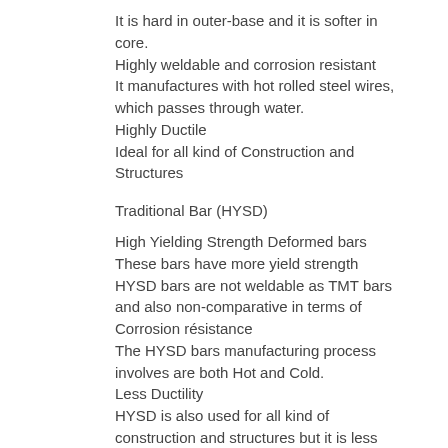It is hard in outer-base and it is softer in core.
Highly weldable and corrosion resistant
It manufactures with hot rolled steel wires, which passes through water.
Highly Ductile
Ideal for all kind of Construction and Structures
Traditional Bar (HYSD)
High Yielding Strength Deformed bars
These bars have more yield strength
HYSD bars are not weldable as TMT bars and also non-comparative in terms of Corrosion résistance
The HYSD bars manufacturing process involves are both Hot and Cold.
Less Ductility
HYSD is also used for all kind of construction and structures but it is less recommended because of the less flexibility
So, what do we understand by HYSD